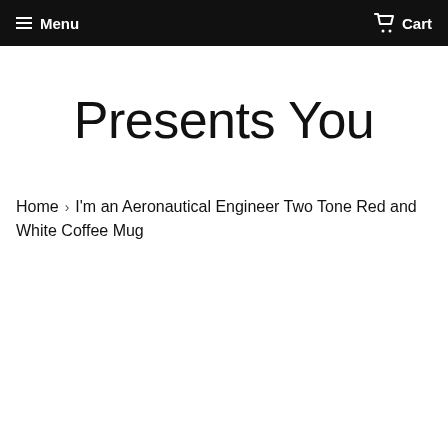Menu  Cart
Presents You
Home › I'm an Aeronautical Engineer Two Tone Red and White Coffee Mug